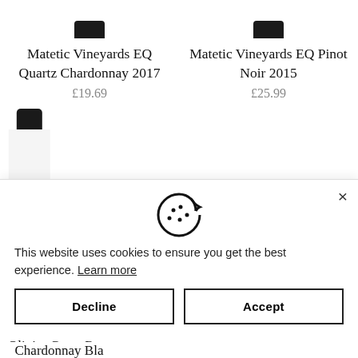[Figure (photo): Wine bottle top (cropped) for Matetic Vineyards EQ Quartz Chardonnay 2017]
Matetic Vineyards EQ Quartz Chardonnay 2017
£19.69
[Figure (photo): Wine bottle top (cropped) for Matetic Vineyards EQ Pinot Noir 2015]
Matetic Vineyards EQ Pinot Noir 2015
£25.99
[Figure (photo): Wine bottle top (partially visible, cropped) for third product]
[Figure (other): Cookie consent icon — cookie with bite taken out]
This website uses cookies to ensure you get the best experience. Learn more
Decline
Accept
Olivier Goste Rare Chardonnay Bla...